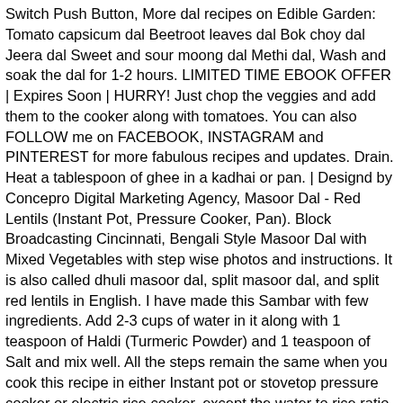Switch Push Button, More dal recipes on Edible Garden: Tomato capsicum dal Beetroot leaves dal Bok choy dal Jeera dal Sweet and sour moong dal Methi dal, Wash and soak the dal for 1-2 hours. LIMITED TIME EBOOK OFFER | Expires Soon | HURRY! Just chop the veggies and add them to the cooker along with tomatoes. You can also FOLLOW me on FACEBOOK, INSTAGRAM and PINTEREST for more fabulous recipes and updates. Drain. Heat a tablespoon of ghee in a kadhai or pan. | Designd by Concepro Digital Marketing Agency, Masoor Dal - Red Lentils (Instant Pot, Pressure Cooker, Pan). Block Broadcasting Cincinnati, Bengali Style Masoor Dal with Mixed Vegetables with step wise photos and instructions. It is also called dhuli masoor dal, split masoor dal, and split red lentils in English. I have made this Sambar with few ingredients. Add 2-3 cups of water in it along with 1 teaspoon of Haldi (Turmeric Powder) and 1 teaspoon of Salt and mix well. All the steps remain the same when you cook this recipe in either Instant pot or stovetop pressure cooker or electric rice cooker, except the water to rice ratio and cooking time. In my house everyone loves it. It freezes well upto 4 months. Convert Amine To Carboxylic Acid, To make a comfy Indian meal, pair it with some hot roti, rice, sabji and raita. Canned Chili With Cinnamon, Like the Pressure Cooker Channa Masala Curry this